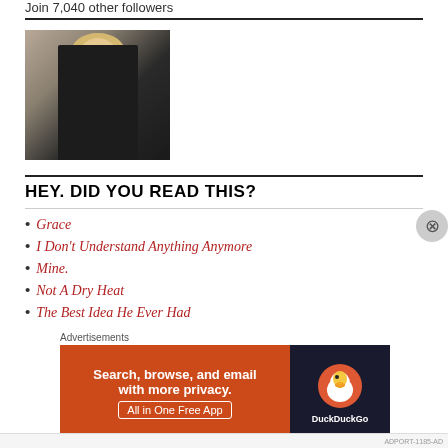Join 7,040 other followers
[Figure (photo): Portrait photo of a woman with curly blonde hair and glasses, wearing a black top, standing outdoors near stairs]
HEY. DID YOU READ THIS?
Grace
I Don't Understand Anything Anymore
Mine.
Not A Dry Heat
The Best Idea He Ever Had
[Figure (screenshot): DuckDuckGo advertisement banner: 'Search, browse, and email with more privacy. All in One Free App' with DuckDuckGo logo on orange and dark background]